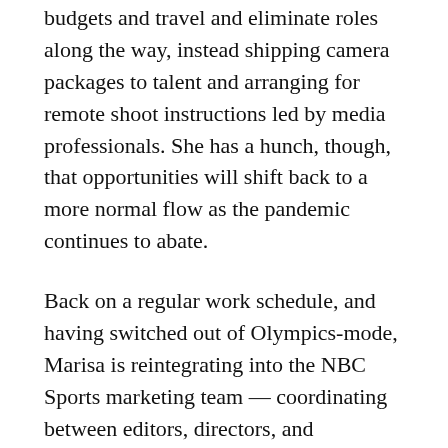budgets and travel and eliminate roles along the way, instead shipping camera packages to talent and arranging for remote shoot instructions led by media professionals. She has a hunch, though, that opportunities will shift back to a more normal flow as the pandemic continues to abate.
Back on a regular work schedule, and having switched out of Olympics-mode, Marisa is reintegrating into the NBC Sports marketing team — coordinating between editors, directors, and producers to make sure promotional material runs smoothly — while staying focused on her longer-term career goals in sports storytelling. Right now she's busy working on the NFL season, preparing to